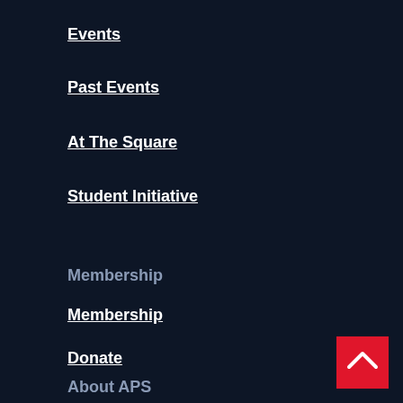Events
Past Events
At The Square
Student Initiative
Membership
Membership
Donate
About APS
[Figure (other): Back to top button - red square with white chevron arrow pointing up]